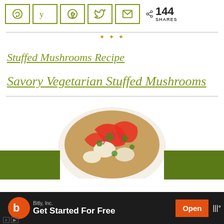[Figure (screenshot): Social share bar with Pinterest, Yummly, Facebook, Twitter, Email icon buttons (olive/green border) and a share count showing 144 SHARES]
[Figure (illustration): Decorative divider with small gold/olive mushroom or floral motif icons]
Stuffed Mushrooms Recipe
Savory Vegetarian Stuffed Mushrooms
[Figure (photo): Food photo showing a colorful mushroom salad/stir-fry with red peppers, mushrooms, red onions, and fresh herbs on a white plate]
[Figure (screenshot): Advertisement banner: Bitly, Inc. - Get Started For Free, with orange Open button and wifi/signal icon]